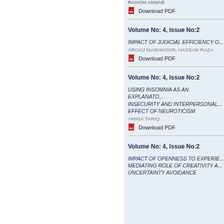RAIHON ANWAR
Download PDF
Volume No: 4, Issue No:2
IMPACT OF JUDICIAL EFFICIENCY O...
AROOJ MASHKOOR, HASSAN RAZA
Download PDF
Volume No: 4, Issue No:2
USING INSOMNIA AS AN EXPLANATO... INSECURITY AND INTERPERSONAL... EFFECT OF NEUROTICISM
AMINA TARIQ
Download PDF
Volume No: 4, Issue No:2
IMPACT OF OPENNESS TO EXPERIE... MEDIATING ROLE OF CREATIVITY A... UNCERTAINTY AVOIDANCE